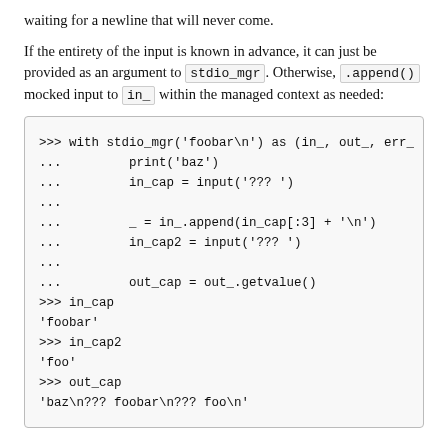waiting for a newline that will never come.
If the entirety of the input is known in advance, it can just be provided as an argument to stdio_mgr. Otherwise, .append() mocked input to in_ within the managed context as needed:
[Figure (screenshot): Python REPL code block showing usage of stdio_mgr with foobar input, demonstrating in_cap, in_cap2, and out_cap capture]